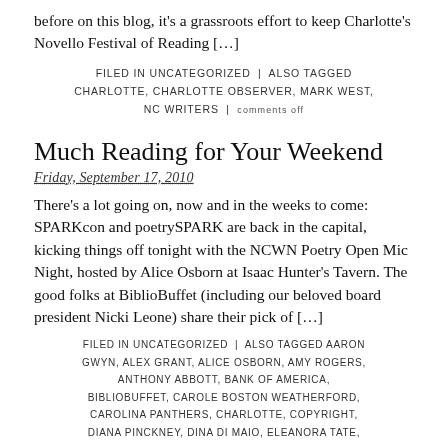before on this blog, it's a grassroots effort to keep Charlotte's Novello Festival of Reading […]
FILED IN UNCATEGORIZED | ALSO TAGGED CHARLOTTE, CHARLOTTE OBSERVER, MARK WEST, NC WRITERS | comments off
Much Reading for Your Weekend
Friday, September 17, 2010
There's a lot going on, now and in the weeks to come: SPARKcon and poetrySPARK are back in the capital, kicking things off tonight with the NCWN Poetry Open Mic Night, hosted by Alice Osborn at Isaac Hunter's Tavern. The good folks at BiblioBuffet (including our beloved board president Nicki Leone) share their pick of […]
FILED IN UNCATEGORIZED | ALSO TAGGED AARON GWYN, ALEX GRANT, ALICE OSBORN, AMY ROGERS, ANTHONY ABBOTT, BANK OF AMERICA, BIBLIOBUFFET, CAROLE BOSTON WEATHERFORD, CAROLINA PANTHERS, CHARLOTTE, COPYRIGHT, DIANA PINCKNEY, DINA DI MAIO, ELEANORA TATE,